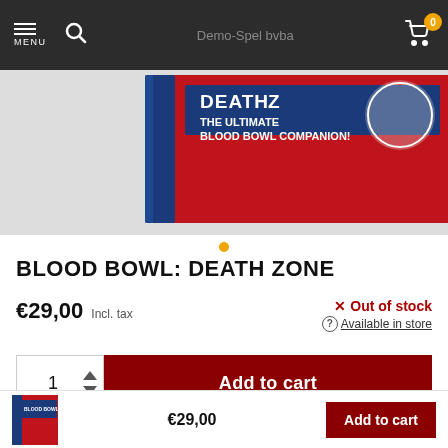MENU | Search | Demo-Spel bvba | Cart 0
[Figure (photo): Product image of Blood Bowl: Death Zone book showing the spine and front cover with red background, text 'DEATH ZONE THE ULTIMATE BLOOD BOWL COMPANION!']
BLOOD BOWL: DEATH ZONE
€29,00  Incl. tax
✕ Out of stock
⊙ Available in store
1  Add to cart
Product description
€29,00  Add to cart